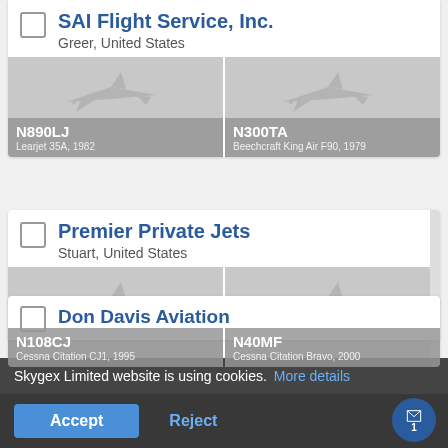[Figure (screenshot): Mobile app screenshot showing flight charter company listings with aircraft cards, cookie consent banner, and partially visible third listing]
SAI Flight Service, Inc.
Greer, United States
N890LJ
Learjet 35A, 1982
N300TA
Beechcraft King Air F90, 1979
Premier Private Jets
Stuart, United States
N108CJ
Cessna Citation CJ1, 1995
N40MF
Cessna Citation Bravo, 2000
Skygex Limited website is using cookies. More details
Accept
Reject
Don Davis Aviation